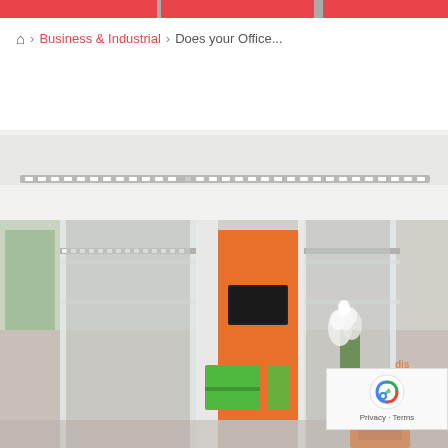Home > Business & Industrial > Does your Office...
[Figure (photo): Modern open-plan office interior with glass partitions, white ceiling with linear lighting, orange accent wall with mounted TV screen, green decorative panels, white orchid plant, orange furnishings, and a lounge sofa area visible on the left.]